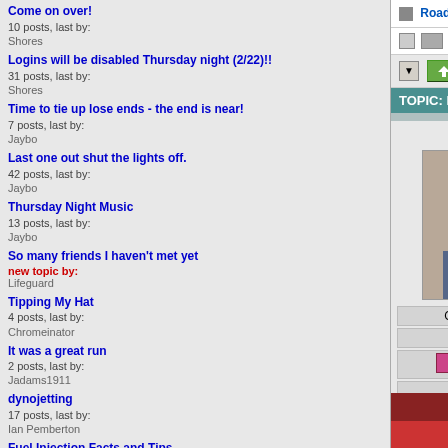Come on over!
10 posts, last by: Shores
Logins will be disabled Thursday night (2/22)!!
31 posts, last by: Shores
Time to tie up lose ends - the end is near!
7 posts, last by: Jaybo
Last one out shut the lights off.
42 posts, last by: Jaybo
Thursday Night Music
13 posts, last by: Jaybo
So many friends I haven't met yet
new topic by: Lifeguard
Tipping My Hat
4 posts, last by: Chromeinator
It was a great run
2 posts, last by: Jadams1911
dynojetting
17 posts, last by: Ian Pemberton
Fuel Injection Facts and Tips
93 posts, last by: AzTank
Now, Saddle bags,,
13 posts, last by: ronzee
Road Star Forum >> General >> Bike Talk
Re:HD recalls 250K for bad brakes.
REPLY TOPIC   Favoured: 0
TOPIC: Re:HD recalls 250K for bad brakes.
Shores (User)
Go getchur scooter!
Platinum Boarder
Posts: 6961
HD reca...
https://www.y... recalls-nearly...